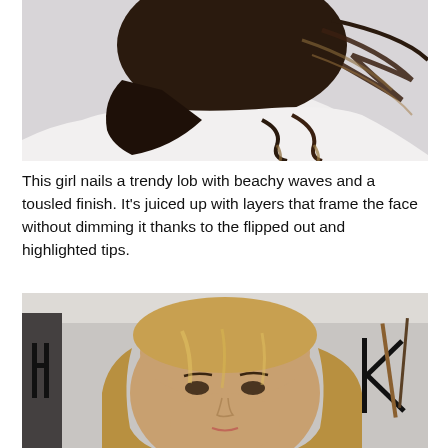[Figure (photo): Side/back view of a woman with a dark brunette lob hairstyle featuring beachy waves and tousled finish with highlighted tips, wearing a white top, against a light background.]
This girl nails a trendy lob with beachy waves and a tousled finish. It's juiced up with layers that frame the face without dimming it thanks to the flipped out and highlighted tips.
[Figure (photo): Front-facing photo of a woman with a blonde/golden lob hairstyle in what appears to be a salon setting, with letters 'H' and 'K' visible in the background (salon branding).]